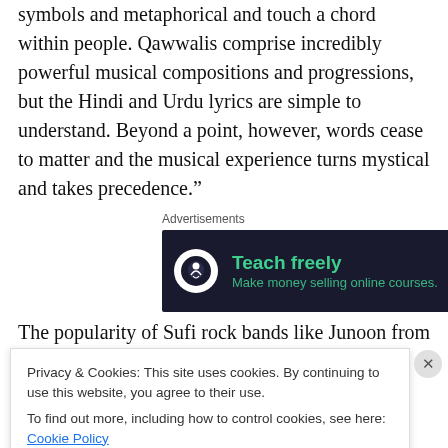symbols and metaphorical and touch a chord within people. Qawwalis comprise incredibly powerful musical compositions and progressions, but the Hindi and Urdu lyrics are simple to understand. Beyond a point, however, words cease to matter and the musical experience turns mystical and takes precedence.”
[Figure (other): Advertisement banner: dark background with logo circle and text 'Teach freely — Make money selling online courses.']
The popularity of Sufi rock bands like Junoon from Pakistan, along with Coke Studio, has also led to the
Privacy & Cookies: This site uses cookies. By continuing to use this website, you agree to their use. To find out more, including how to control cookies, see here: Cookie Policy